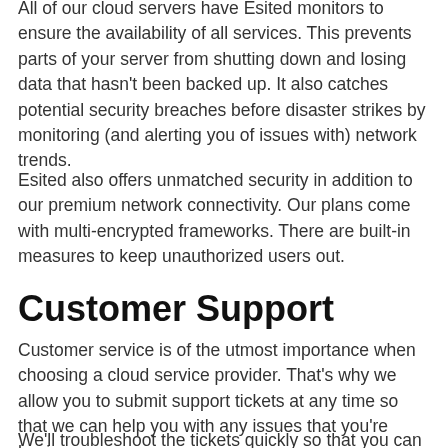All of our cloud servers have Esited monitors to ensure the availability of all services. This prevents parts of your server from shutting down and losing data that hasn't been backed up. It also catches potential security breaches before disaster strikes by monitoring (and alerting you of issues with) network trends.
Esited also offers unmatched security in addition to our premium network connectivity. Our plans come with multi-encrypted frameworks. There are built-in measures to keep unauthorized users out.
Customer Support
Customer service is of the utmost importance when choosing a cloud service provider. That's why we allow you to submit support tickets at any time so that we can help you with any issues that you're having.
We'll troubleshoot the tickets quickly so that you can get the fastest results that matter most...